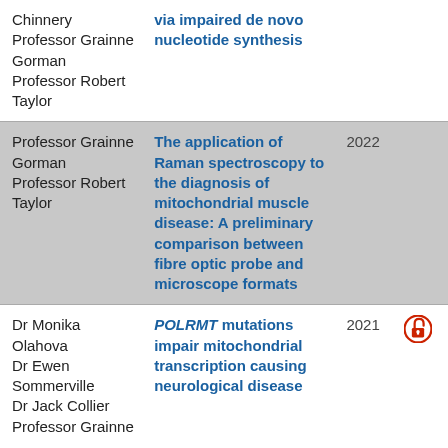| Author(s) | Title | Year |  |
| --- | --- | --- | --- |
| Chinnery
Professor Grainne Gorman
Professor Robert Taylor | via impaired de novo nucleotide synthesis |  |  |
| Professor Grainne Gorman
Professor Robert Taylor | The application of Raman spectroscopy to the diagnosis of mitochondrial muscle disease: A preliminary comparison between fibre optic probe and microscope formats | 2022 |  |
| Dr Monika Olahova
Dr Ewen Sommerville
Dr Jack Collier
Professor Grainne | POLRMT mutations impair mitochondrial transcription causing neurological disease | 2021 | [OA] |